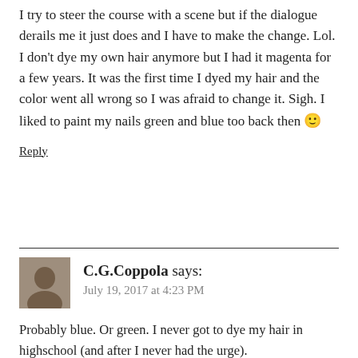I try to steer the course with a scene but if the dialogue derails me it just does and I have to make the change. Lol. I don't dye my own hair anymore but I had it magenta for a few years. It was the first time I dyed my hair and the color went all wrong so I was afraid to change it. Sigh. I liked to paint my nails green and blue too back then 🙂
Reply
C.G.Coppola says:
July 19, 2017 at 4:23 PM
Probably blue. Or green. I never got to dye my hair in highschool (and after I never had the urge).